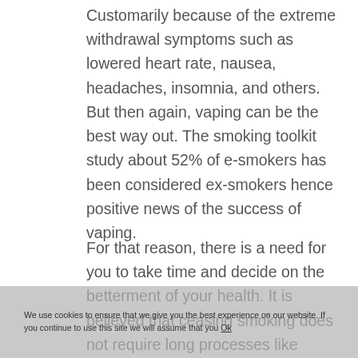Customarily because of the extreme withdrawal symptoms such as lowered heart rate, nausea, headaches, insomnia, and others. But then again, vaping can be the best way out. The smoking toolkit study about 52% of e-smokers has been considered ex-smokers hence positive news of the success of vaping.
For that reason, there is a need for you to take time and decide on the betterment of your health. It is believed that ceasing smoking does not require long processes like nicotine replacement analysis, any special medication neither does it require hypnotherapy. Hence, switching from cigarettes to vaping is not a big deal. This article herein discusses some of the
We use cookies to ensure that we give you the best experience on our website. If you continue to use this site we will assume that you Ok